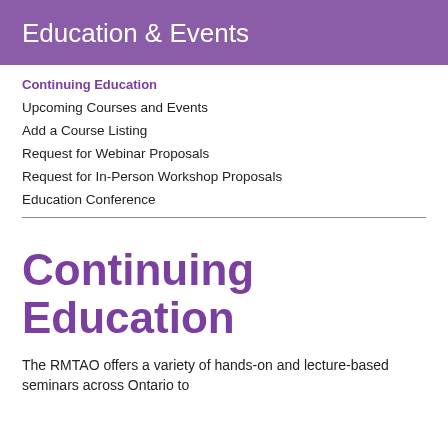Education & Events
Continuing Education
Upcoming Courses and Events
Add a Course Listing
Request for Webinar Proposals
Request for In-Person Workshop Proposals
Education Conference
Continuing Education
The RMTAO offers a variety of hands-on and lecture-based seminars across Ontario to